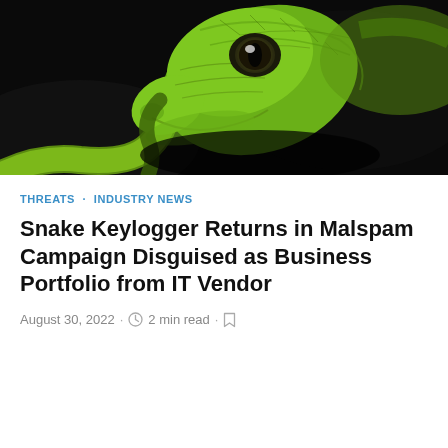[Figure (photo): Close-up photograph of a bright green snake head against a black background, showing detailed scales and eye]
THREATS · INDUSTRY NEWS
Snake Keylogger Returns in Malspam Campaign Disguised as Business Portfolio from IT Vendor
August 30, 2022 · 2 min read ·